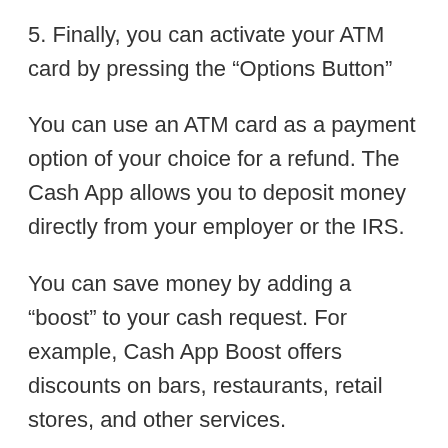5. Finally, you can activate your ATM card by pressing the “Options Button”
You can use an ATM card as a payment option of your choice for a refund. The Cash App allows you to deposit money directly from your employer or the IRS.
You can save money by adding a “boost” to your cash request. For example, Cash App Boost offers discounts on bars, restaurants, retail stores, and other services.